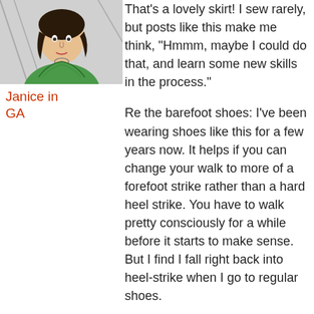[Figure (illustration): Comic-style illustration of a woman with dark hair wearing a green top, drawn in a graphic novel style with bold outlines.]
Janice in GA
That’s a lovely skirt! I sew rarely, but posts like this make me think, “Hmmm, maybe I could do that, and learn some new skills in the process.”
Re the barefoot shoes: I’ve been wearing shoes like this for a few years now. It helps if you can change your walk to more of a forefoot strike rather than a hard heel strike. You have to walk pretty consciously for a while before it starts to make sense. But I find I fall right back into heel-strike when I go to regular shoes.
There are some other minimal shoes that aren’t QUITE as flat as the ones you have. I lived most of the summer in Merrell (NAYY) Pace Glove shoes. And if you don’t mind funky-looking shoes, Soft Star